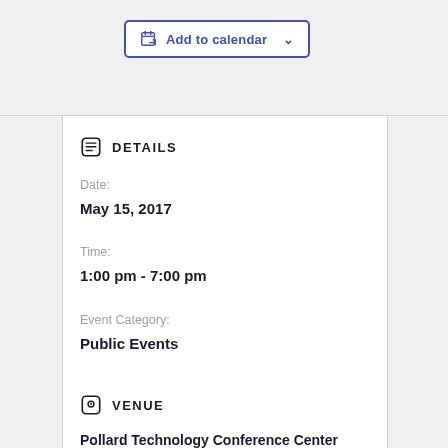[Figure (screenshot): Add to calendar button with calendar icon and dropdown arrow, styled with blue border and blue text]
DETAILS
Date:
May 15, 2017
Time:
1:00 pm - 7:00 pm
Event Category:
Public Events
VENUE
Pollard Technology Conference Center